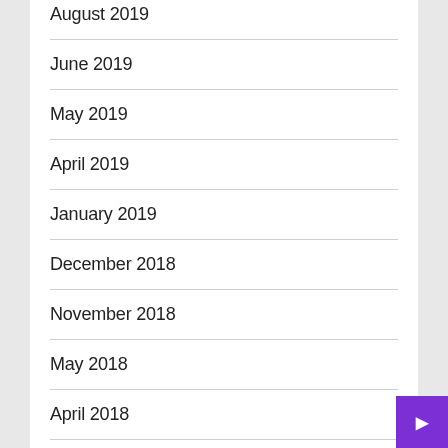August 2019
June 2019
May 2019
April 2019
January 2019
December 2018
November 2018
May 2018
April 2018
March 2018